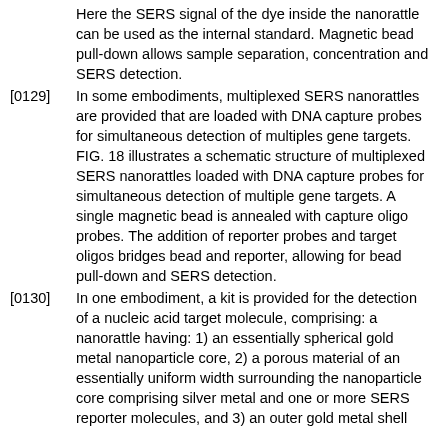Here the SERS signal of the dye inside the nanorattle can be used as the internal standard. Magnetic bead pull-down allows sample separation, concentration and SERS detection.
[0129] In some embodiments, multiplexed SERS nanorattles are provided that are loaded with DNA capture probes for simultaneous detection of multiples gene targets. FIG. 18 illustrates a schematic structure of multiplexed SERS nanorattles loaded with DNA capture probes for simultaneous detection of multiple gene targets. A single magnetic bead is annealed with capture oligo probes. The addition of reporter probes and target oligos bridges bead and reporter, allowing for bead pull-down and SERS detection.
[0130] In one embodiment, a kit is provided for the detection of a nucleic acid target molecule, comprising: a nanorattle having: 1) an essentially spherical gold metal nanoparticle core, 2) a porous material of an essentially uniform width surrounding the nanoparticle core comprising silver metal and one or more SERS reporter molecules, and 3) an outer gold metal shell